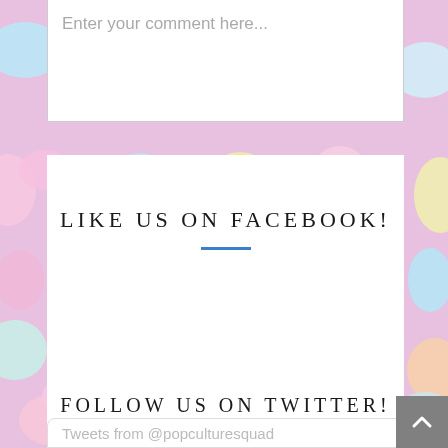Enter your comment here...
LIKE US ON FACEBOOK!
FOLLOW US ON TWITTER!
Tweets from @popculturesquad